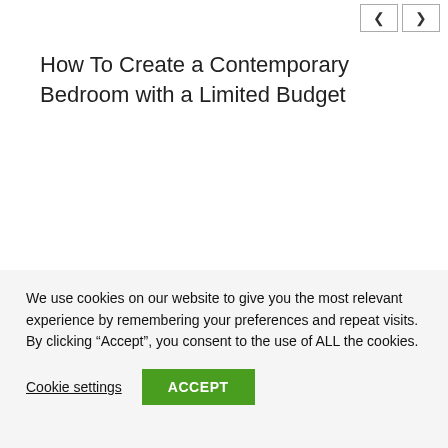How To Create a Contemporary Bedroom with a Limited Budget
We use cookies on our website to give you the most relevant experience by remembering your preferences and repeat visits. By clicking “Accept”, you consent to the use of ALL the cookies.
Cookie settings
ACCEPT